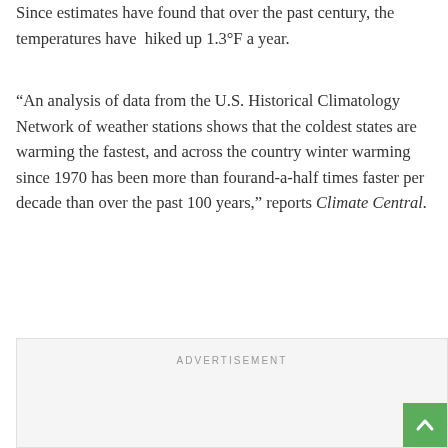Since estimates have found that over the past century, the temperatures have hiked up 1.3°F a year.
“An analysis of data from the U.S. Historical Climatology Network of weather stations shows that the coldest states are warming the fastest, and across the country winter warming since 1970 has been more than fourand-a-half times faster per decade than over the past 100 years,” reports Climate Central.
ADVERTISEMENT